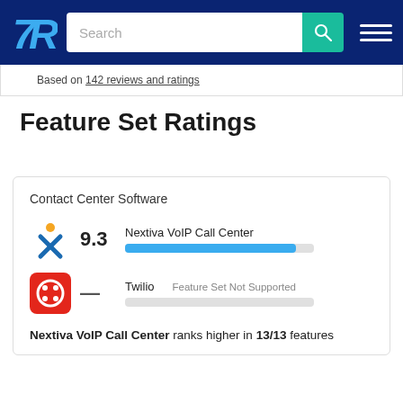TrustRadius – Search
Based on 142 reviews and ratings
Feature Set Ratings
| Logo | Score | Product | Bar/Status |
| --- | --- | --- | --- |
| Nextiva logo | 9.3 | Nextiva VoIP Call Center | bar ~93% |
| Twilio logo | — | Twilio | Feature Set Not Supported |
Nextiva VoIP Call Center ranks higher in 13/13 features